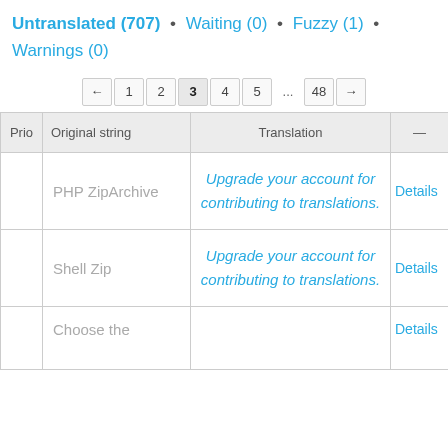Untranslated (707) • Waiting (0) • Fuzzy (1) • Warnings (0)
| Prio | Original string | Translation | — |
| --- | --- | --- | --- |
|  | PHP ZipArchive | Upgrade your account for contributing to translations. | Details |
|  | Shell Zip | Upgrade your account for contributing to translations. | Details |
|  | Choose the |  | Details |